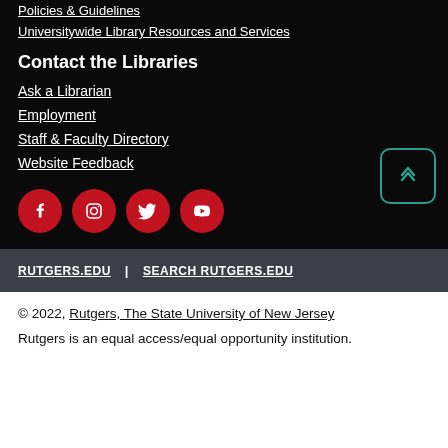Policies & Guidelines
Universitywide Library Resources and Services
Contact the Libraries
Ask a Librarian
Employment
Staff & Faculty Directory
Website Feedback
[Figure (infographic): Social media icons row: Facebook, Instagram, Twitter, YouTube — red circles with white icons]
RUTGERS.EDU | SEARCH RUTGERS.EDU
© 2022, Rutgers, The State University of New Jersey
Rutgers is an equal access/equal opportunity institution.